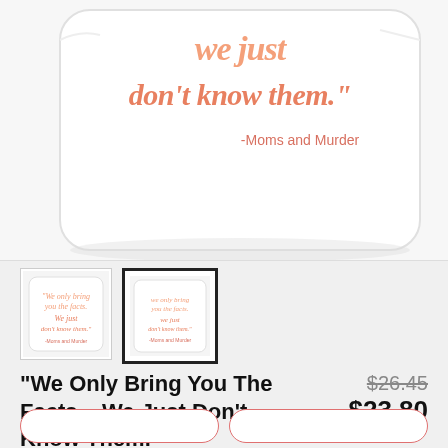[Figure (photo): White decorative throw pillow with script text reading 'we just don't know them.' and attribution '-Moms and Murder' in coral/salmon pink color]
[Figure (photo): Two thumbnail images of the pillow product, second one selected with bold border]
"We Only Bring You The Facts... We Just Don't Know Them."
$26.45 (strikethrough) $23.80